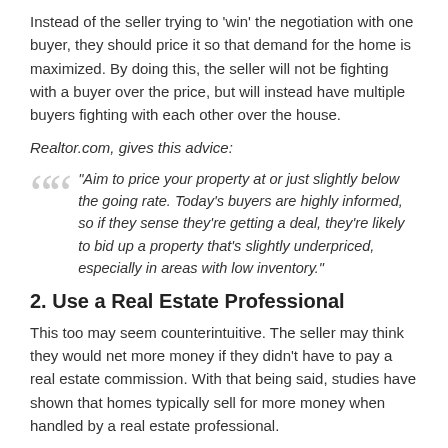Instead of the seller trying to 'win' the negotiation with one buyer, they should price it so that demand for the home is maximized. By doing this, the seller will not be fighting with a buyer over the price, but will instead have multiple buyers fighting with each other over the house.
Realtor.com, gives this advice:
“Aim to price your property at or just slightly below the going rate. Today’s buyers are highly informed, so if they sense they’re getting a deal, they’re likely to bid up a property that’s slightly underpriced, especially in areas with low inventory.”
2. Use a Real Estate Professional
This too may seem counterintuitive. The seller may think they would net more money if they didn’t have to pay a real estate commission. With that being said, studies have shown that homes typically sell for more money when handled by a real estate professional.
Research posted by the National Association of